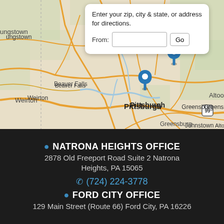[Figure (map): Road map of western Pennsylvania showing Pittsburgh, Beaver Falls, Weirton, Youngstown, DuBois, Clearfield, Altoona, Greensburg, Johnstown areas. Two blue map pin markers are visible on the map — one near Natrona Heights/Ford City area northeast of Pittsburgh, and one slightly southwest of it.]
Enter your zip, city & state, or address for directions.
From: [input field] Go
📍 NATRONA HEIGHTS OFFICE
2878 Old Freeport Road Suite 2 Natrona Heights, PA 15065
📞 (724) 224-3778
📍 FORD CITY OFFICE
129 Main Street (Route 66) Ford City, PA 16226